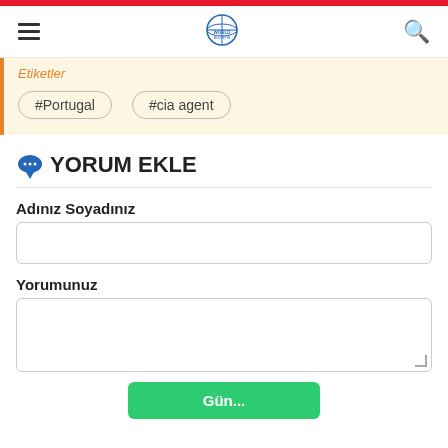World Bulletin
Etiketler
#Portugal
#cia agent
YORUM EKLE
Adınız Soyadınız
Yorumunuz